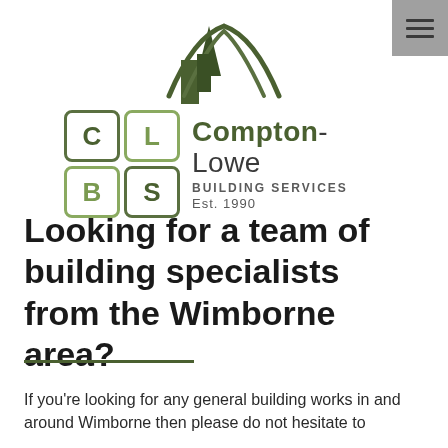[Figure (logo): Compton-Lowe Building Services logo with roof graphic, CLBS letter grid, company name and Est. 1990]
Looking for a team of building specialists from the Wimborne area?
If you're looking for any general building works in and around Wimborne then please do not hesitate to